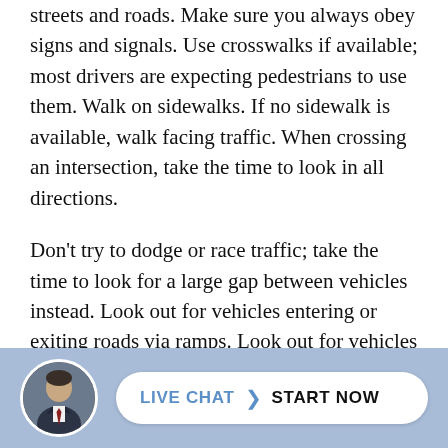streets and roads. Make sure you always obey signs and signals. Use crosswalks if available; most drivers are expecting pedestrians to use them. Walk on sidewalks. If no sidewalk is available, walk facing traffic. When crossing an intersection, take the time to look in all directions.
Don't try to dodge or race traffic; take the time to look for a large gap between vehicles instead. Look out for vehicles entering or exiting roads via ramps. Look out for vehicles quickly entering or exiting parking lots or driveways. Mostly, be aware that some drivers are simply not paying attention. Just as defensive driving is the best policy for motorists, pedestrians are safest when c...lering all the possibilities.
[Figure (infographic): Live chat widget bar with circular avatar photo of a man in a suit and tie, and a white pill-shaped button reading 'LIVE CHAT > START NOW' on a blue-gray background bar at the bottom of the page.]